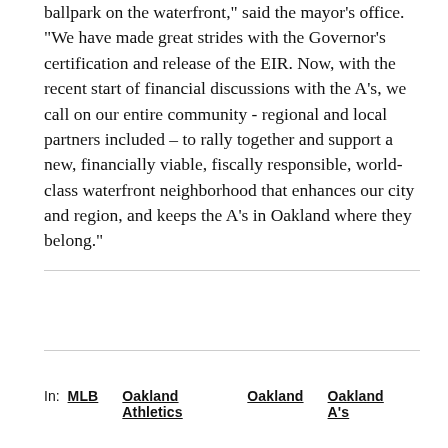ballpark on the waterfront," said the mayor's office. "We have made great strides with the Governor's certification and release of the EIR. Now, with the recent start of financial discussions with the A's, we call on our entire community - regional and local partners included – to rally together and support a new, financially viable, fiscally responsible, world-class waterfront neighborhood that enhances our city and region, and keeps the A's in Oakland where they belong."
In: MLB Oakland Athletics Oakland Oakland A's